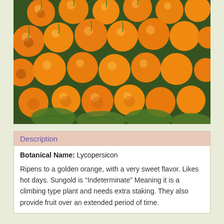[Figure (photo): Close-up photograph of orange/golden cherry tomatoes (Sungold variety) on the vine with green leaves visible]
Description
Botanical Name: Lycopersicon
Ripens to a golden orange, with a very sweet flavor. Likes hot days. Sungold is “Indeterminate” Meaning it is a climbing type plant and needs extra staking. They also provide fruit over an extended period of time.